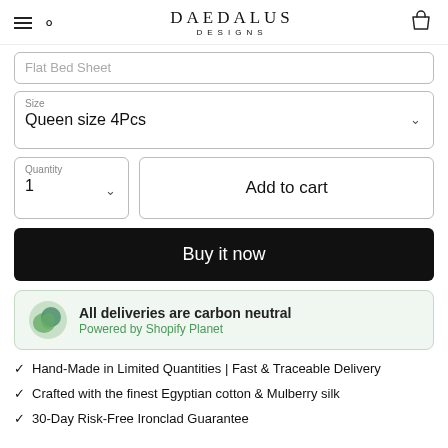DAEDALUS DESIGNS
Flat Bed Sheet
Size: Queen size 4Pcs
Quantity: 1 | Add to cart
Buy it now
All deliveries are carbon neutral
Powered by Shopify Planet
Hand-Made in Limited Quantities | Fast & Traceable Delivery
Crafted with the finest Egyptian cotton & Mulberry silk
30-Day Risk-Free Ironclad Guarantee